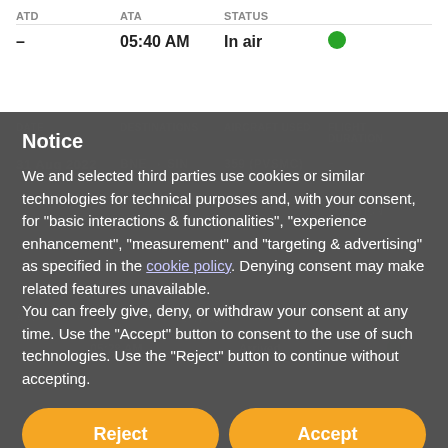| ATD | ATA | STATUS |
| --- | --- | --- |
| – | 05:40 AM | In air |
[Figure (screenshot): Faded background showing flight schedule table with columns DATE, DESTINATIONS, AIRCRAFT USED, FLIGHT DURATION with a row for 31 Aug 2022 BNE→SIN 359 (PVSMC)]
Notice
We and selected third parties use cookies or similar technologies for technical purposes and, with your consent, for "basic interactions & functionalities", "experience enhancement", "measurement" and "targeting & advertising" as specified in the cookie policy. Denying consent may make related features unavailable.
You can freely give, deny, or withdraw your consent at any time. Use the "Accept" button to consent to the use of such technologies. Use the "Reject" button to continue without accepting.
Reject
Accept
Learn more and customise